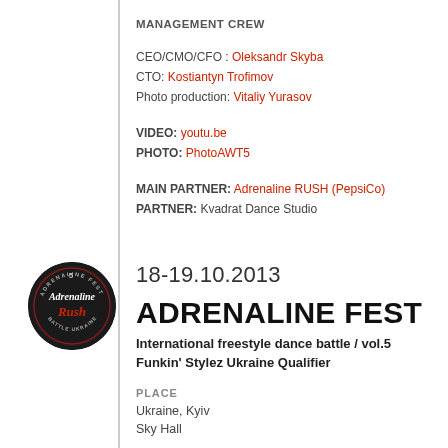MANAGEMENT CREW
CEO/CMO/CFO : Oleksandr Skyba
CTO: Kostiantyn Trofimov
Photo production: Vitaliy Yurasov
VIDEO: youtu.be
PHOTO: PhotoAWT5
MAIN PARTNER: Adrenaline RUSH (PepsiCo)
PARTNER: Kvadrat Dance Studio
[Figure (logo): Circular dark logo with Adrenaline Rush branding and number 5]
18-19.10.2013
ADRENALINE FEST
International freestyle dance battle / vol.5
Funkin' Stylez Ukraine Qualifier
PLACE
Ukraine, Kyiv
Sky Hall